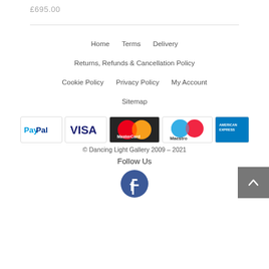£695.00
Home   Terms   Delivery   Returns, Refunds & Cancellation Policy   Cookie Policy   Privacy Policy   My Account   Sitemap
[Figure (logo): Payment method logos: PayPal, VISA, MasterCard, Maestro, American Express]
© Dancing Light Gallery 2009 – 2021
Follow Us
[Figure (logo): Facebook logo icon (blue circle with white F)]